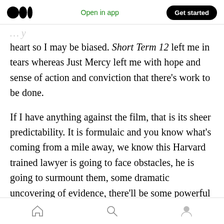Medium app header with logo, 'Open in app' link, and 'Get started' button
heart so I may be biased. Short Term 12 left me in tears whereas Just Mercy left me with hope and sense of action and conviction that there's work to be done.
If I have anything against the film, that is its sheer predictability. It is formulaic and you know what's coming from a mile away, we know this Harvard trained lawyer is going to face obstacles, he is going to surmount them, some dramatic uncovering of evidence, there'll be some powerful speeches in the court that ends in
Bottom navigation bar with home, search, and profile icons